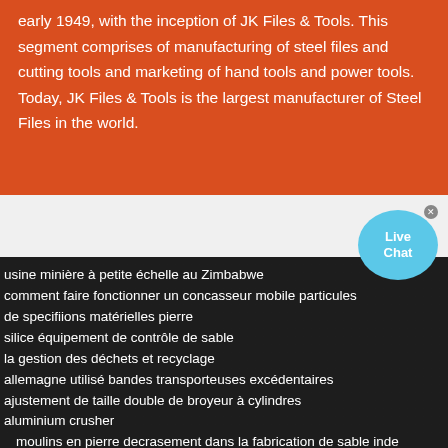Raymond Group ventured into the engineering business in early 1949, with the inception of JK Files & Tools. This segment comprises of manufacturing of steel files and cutting tools and marketing of hand tools and power tools. Today, JK Files & Tools is the largest manufacturer of Steel Files in the world.
[Figure (other): Live Chat button widget in the upper right corner]
[Figure (photo): Dark industrial background image with machinery]
usine minière à petite échelle au Zimbabwe
comment faire fonctionner un concasseur mobile particules
de specifiions matérielles pierre
silice équipement de contrôle de sable
la gestion des déchets et recyclage
allemagne utilisé bandes transporteuses excédentaires
ajustement de taille double de broyeur à cylindres
aluminium crusher
moulins en pierre decrasement dans la fabrication de sable inde
carriere de pierre
concasseur à mâchoires zénithal 1200 x 250